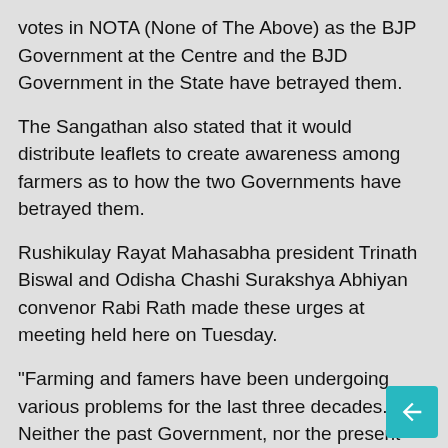votes in NOTA (None of The Above) as the BJP Government at the Centre and the BJD Government in the State have betrayed them.
The Sangathan also stated that it would distribute leaflets to create awareness among farmers as to how the two Governments have betrayed them.
Rushikulay Rayat Mahasabha president Trinath Biswal and Odisha Chashi Surakshya Abhiyan convenor Rabi Rath made these urges at meeting held here on Tuesday.
"Farming and famers have been undergoing various problems for the last three decades. Neither the past Government, nor the present Governments have taken any step to implement the Swaminathan Committee and resolve the problems. KALIA Yojana and PM Kissan Sammannidhi are like alms given to beggars. Whichever parties form Government, the farmer bodies will continue to fight to protect their basic rights," said Rath.